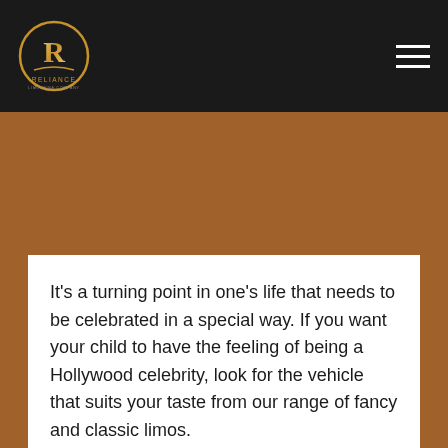[Figure (logo): Reliance Limousine company circular logo with stylized R and car graphic, gold and white on dark background]
It’s a turning point in one’s life that needs to be celebrated in a special way. If you want your child to have the feeling of being a Hollywood celebrity, look for the vehicle that suits your taste from our range of fancy and classic limos.
Our team will help you make your day feel remarkable. Riding in a Limo will help you create a grand entrance to your quinceanera celebration in NY. Limos are one of the best